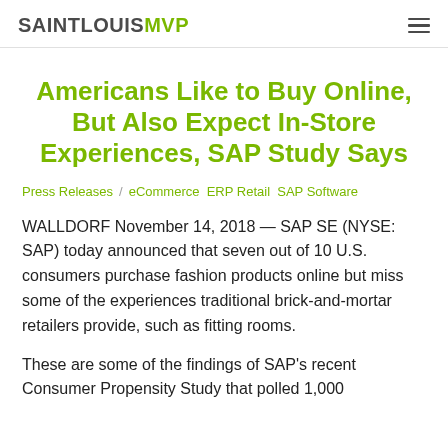SAINTLOUISMVP
Americans Like to Buy Online, But Also Expect In-Store Experiences, SAP Study Says
Press Releases / eCommerce  ERP Retail  SAP Software
WALLDORF November 14, 2018 — SAP SE (NYSE: SAP) today announced that seven out of 10 U.S. consumers purchase fashion products online but miss some of the experiences traditional brick-and-mortar retailers provide, such as fitting rooms.
These are some of the findings of SAP's recent Consumer Propensity Study that polled 1,000